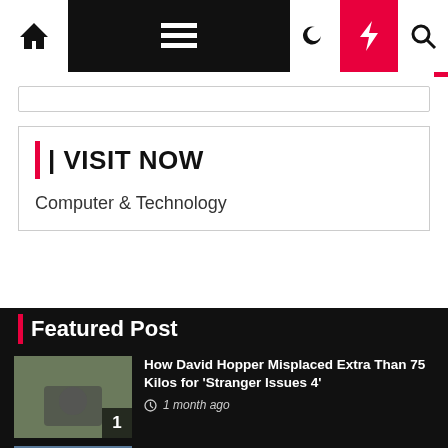Navigation bar with home, menu, moon, bolt, search icons
| | VISIT NOW
Computer & Technology
Featured Post
How David Hopper Misplaced Extra Than 75 Kilos for 'Stranger Issues 4'
1 month ago
Laying aside your males's wellness